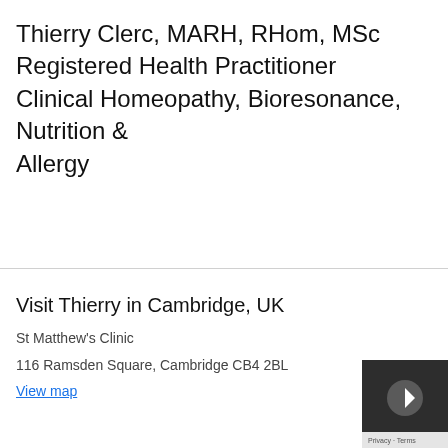Thierry Clerc, MARH, RHom, MSc Registered Health Practitioner Clinical Homeopathy, Bioresonance, Nutrition & Allergy
Visit Thierry in Cambridge, UK
St Matthew's Clinic
116 Ramsden Square, Cambridge CB4 2BL
View map